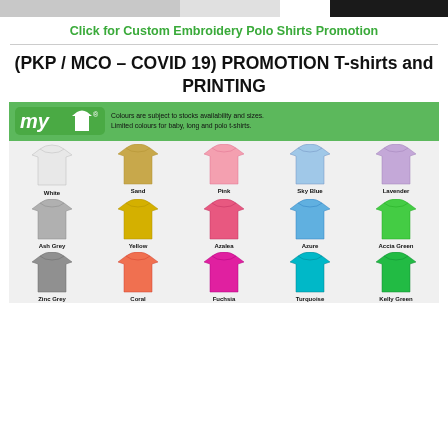[Figure (photo): Partial top image showing people wearing t-shirts, cropped at top of page]
Click for Custom Embroidery Polo Shirts Promotion
(PKP / MCO – COVID 19) PROMOTION T-shirts and PRINTING
[Figure (infographic): MYT t-shirt colour chart showing various t-shirt colours: White, Sand, Pink, Sky Blue, Lavender, Ash Grey, Yellow, Azalea, Azure, Accia Green, Zinc Grey, Coral, Fuchsia, Turquoise, Kelly Green, and more rows below. Header states: Colours are subject to stocks availability and sizes. Limited colours for baby, long and polo t-shirts.]